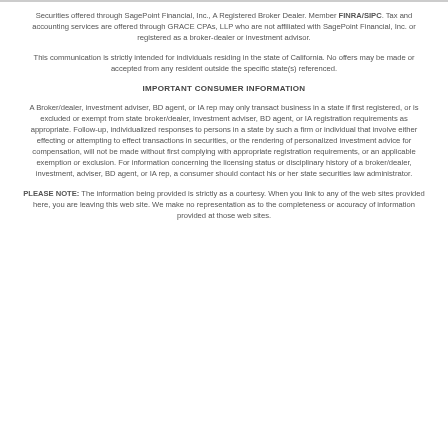Securities offered through SagePoint Financial, Inc., A Registered Broker Dealer. Member FINRA/SIPC. Tax and accounting services are offered through GRACE CPAs, LLP who are not affiliated with SagePoint Financial, Inc. or registered as a broker-dealer or investment advisor.
This communication is strictly intended for individuals residing in the state of California. No offers may be made or accepted from any resident outside the specific state(s) referenced.
IMPORTANT CONSUMER INFORMATION
A Broker/dealer, investment adviser, BD agent, or IA rep may only transact business in a state if first registered, or is excluded or exempt from state broker/dealer, investment adviser, BD agent, or IA registration requirements as appropriate. Follow-up, individualized responses to persons in a state by such a firm or individual that involve either effecting or attempting to effect transactions in securities, or the rendering of personalized investment advice for compensation, will not be made without first complying with appropriate registration requirements, or an applicable exemption or exclusion. For information concerning the licensing status or disciplinary history of a broker/dealer, investment, adviser, BD agent, or IA rep, a consumer should contact his or her state securities law administrator.
PLEASE NOTE: The information being provided is strictly as a courtesy. When you link to any of the web sites provided here, you are leaving this web site. We make no representation as to the completeness or accuracy of information provided at those web sites.